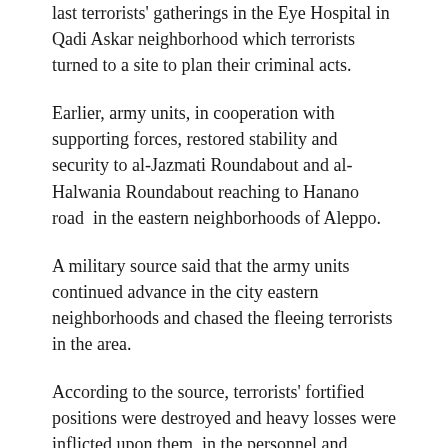last terrorists' gatherings in the Eye Hospital in Qadi Askar neighborhood which terrorists turned to a site to plan their criminal acts.
Earlier, army units, in cooperation with supporting forces, restored stability and security to al-Jazmati Roundabout and al-Halwania Roundabout reaching to Hanano road  in the eastern neighborhoods of Aleppo.
A military source said that the army units continued advance in the city eastern neighborhoods and chased the fleeing terrorists in the area.
According to the source, terrorists' fortified positions were destroyed and heavy losses were inflicted upon them  in the personnel and equipment.
Daraa
An army unit  directed intensified strikes against two command centers of the armed terrorist groups in the neighborhoods of al-Sad (Daraa) and al-Adahliyya in